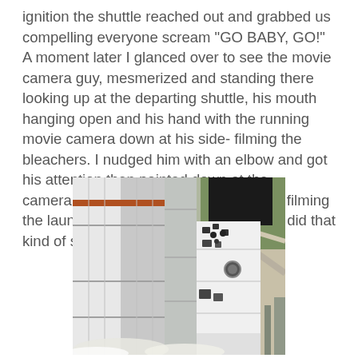ignition the shuttle reached out and grabbed us compelling everyone scream "GO BABY, GO!" A moment later I glanced over to see the movie camera guy, mesmerized and standing there looking up at the departing shuttle, his mouth hanging open and his hand with the running movie camera down at his side- filming the bleachers. I nudged him with an elbow and got his attention then pointed down at the camera."OH!" He said as he returned to filming the launch. For some reason the shuttle did that kind of stuff to you.
[Figure (photo): Aerial close-up photograph of a Space Shuttle on the launch pad, showing the orbiter's nose and fuselage alongside the solid rocket boosters, with steam/smoke visible at the base and launch infrastructure visible in the background.]